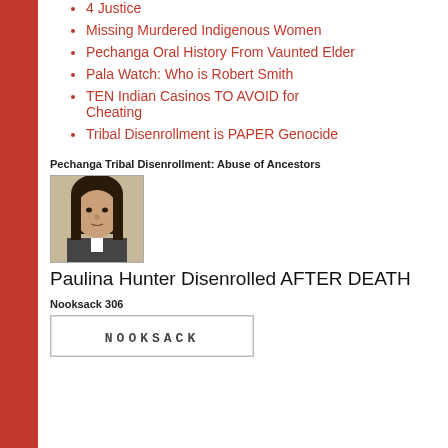4 Justice
Missing Murdered Indigenous Women
Pechanga Oral History From Vaunted Elder
Pala Watch: Who is Robert Smith
TEN Indian Casinos TO AVOID for Cheating
Tribal Disenrollment is PAPER Genocide
Pechanga Tribal Disenrollment: Abuse of Ancestors
[Figure (photo): Black and white portrait photograph of Paulina Hunter, a Native American woman with dark hair]
Paulina Hunter Disenrolled AFTER DEATH
Nooksack 306
[Figure (logo): NOOKSACK text logo in monospace lettering inside a bordered box]